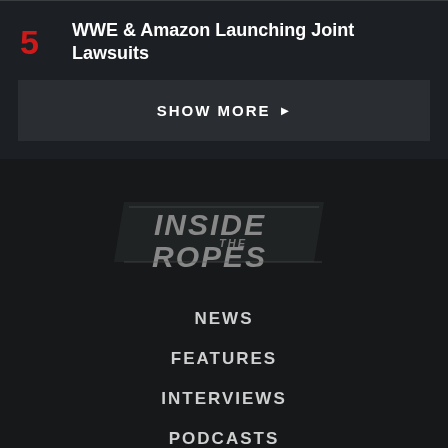5 WWE & Amazon Launching Joint Lawsuits
SHOW MORE ▶
[Figure (logo): Inside The Ropes logo in grey italic bold text with diagonal stripe design]
NEWS
FEATURES
INTERVIEWS
PODCASTS
MAGAZINE
WRITE FOR US